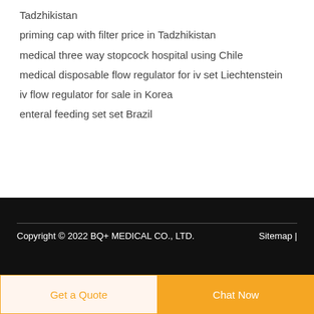Tadzhikistan
priming cap with filter price in Tadzhikistan
medical three way stopcock hospital using Chile
medical disposable flow regulator for iv set Liechtenstein
iv flow regulator for sale in Korea
enteral feeding set set Brazil
[Figure (other): Dark blue circular button with white upward arrow (scroll to top button)]
Copyright © 2022 BQ+ MEDICAL CO., LTD.    Sitemap |
Get a Quote
Chat Now